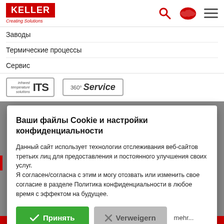[Figure (logo): KELLER logo with red background and 'Creating Solutions' tagline]
Заводы
Термические процессы
Сервис
[Figure (logo): ITS infrared temperature solutions badge and 360° Service badge]
Ваши файлы Cookie и настройки конфиденциальности
Данный сайт использует технологии отслеживания веб-сайтов третьих лиц для предоставления и постоянного улучшения своих услуг. Я согласен/согласна с этим и могу отозвать или изменить свое согласие в разделе Политика конфиденциальности в любое время с эффектом на будущее.
Принять
Verweigern
mehr...
Tel.: +49 (0) 9 11-9 65 0, info@keller.de